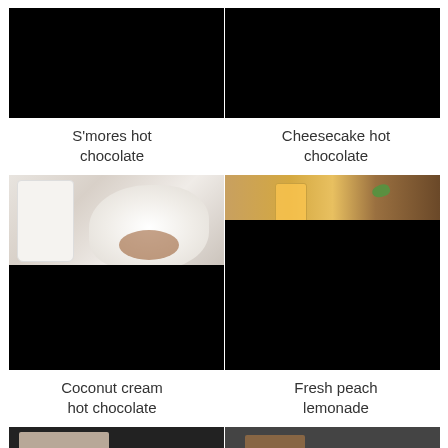[Figure (photo): S'mores hot chocolate drink photo - black image (top row left)]
[Figure (photo): Cheesecake hot chocolate drink photo - black image (top row right)]
S'mores hot chocolate
Cheesecake hot chocolate
[Figure (photo): Coconut cream hot chocolate drink photo - partial cream/white photo on top, black on bottom]
[Figure (photo): Fresh peach lemonade drink photo - partial peach/orange photo on top, black on bottom]
Coconut cream hot chocolate
Fresh peach lemonade
[Figure (photo): Bottom row left partial image (cut off)]
[Figure (photo): Bottom row right partial image (cut off)]